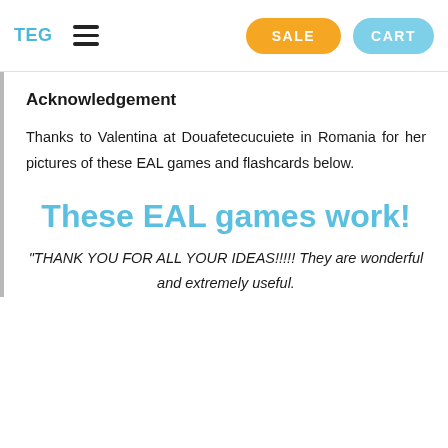TEG  ≡  SALE  CART
Acknowledgement
Thanks to Valentina at Douafetecucuiete in Romania for her pictures of these EAL games and flashcards below.
These EAL games work!
"THANK YOU FOR ALL YOUR IDEAS!!!!! They are wonderful and extremely useful.